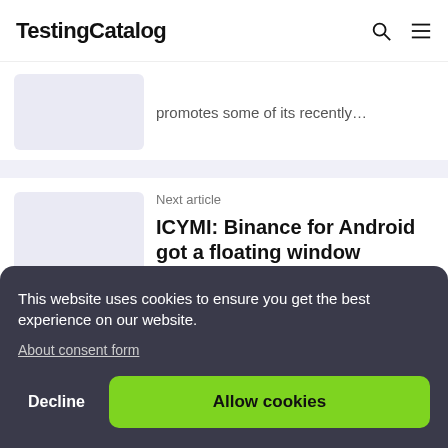TestingCatalog
promotes some of its recently…
Next article
ICYMI: Binance for Android got a floating window showing real time updates
Binance is one of the most know
This website uses cookies to ensure you get the best experience on our website.
About consent form
Decline
Allow cookies